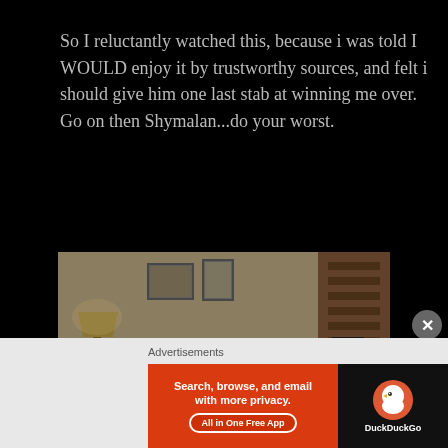So I reluctantly watched this, because i was told I WOULD enjoy it by trustworthy sources, and felt i should give him one last stab at winning me over. Go on then Shymalan...do your worst.
[Figure (photo): An older woman with long gray hair wearing a light cardigan over a blue shirt, seated in a dimly lit room with a lamp, wooden furniture, and a camera on a tripod to the right.]
Because of the...
Advertisements
[Figure (screenshot): Advertisement banner for DuckDuckGo: left side orange/red with text 'Search, browse, and email with more privacy. All in One Free App' button; right side dark with DuckDuckGo logo.]